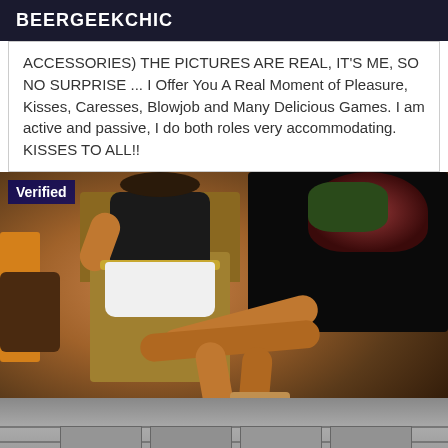BEERGEEKCHIC
ACCESSORIES) THE PICTURES ARE REAL, IT'S ME, SO NO SURPRISE ... I Offer You A Real Moment of Pleasure, Kisses, Caresses, Blowjob and Many Delicious Games. I am active and passive, I do both roles very accommodating. KISSES TO ALL!!
[Figure (photo): Person seated on a wicker chair outdoors, wearing white shorts and high heels, with a dark background and stone floor. Badge reading 'Verified' in top left corner.]